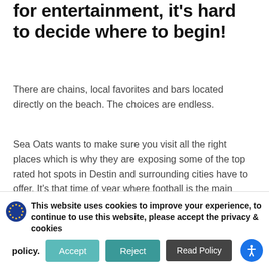for entertainment, it's hard to decide where to begin!
There are chains, local favorites and bars located directly on the beach. The choices are endless.
Sea Oats wants to make sure you visit all the right places which is why they are exposing some of the top rated hot spots in Destin and surrounding cities have to offer. It's that time of year where football is the main attraction no matter where you live. While you are visiting you can relax at some of the coolest bars around enjoying a cold beer
This website uses cookies to improve your experience, to continue to use this website, please accept the privacy & cookies policy.